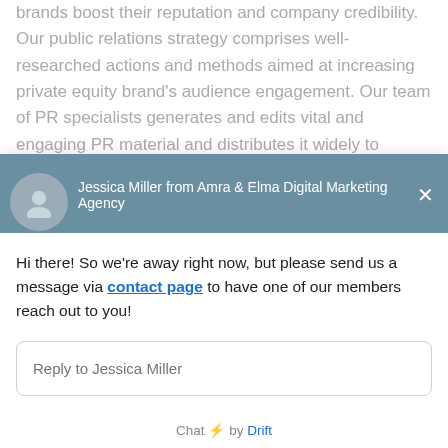brands boost their reputation and company credibility. Our public relations strategy comprises well-researched actions and methods aimed at increasing private equity brand's audience engagement. Our team of PR specialists generates and edits vital and engaging PR material and distributes it widely to relevant media sources, industry magazines, podcasts, websites, and social media platforms...
[Figure (screenshot): Chat widget overlay showing Jessica Miller from Amra & Elma Digital Marketing Agency with an away message directing users to the contact page, a reply input box, and 'Chat by Drift' footer.]